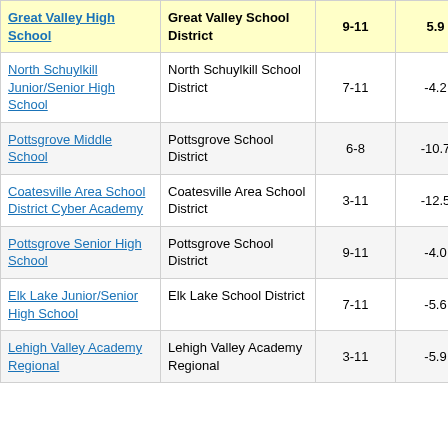| School | District | Grades | Col4 | Col5 |
| --- | --- | --- | --- | --- |
| Great Valley High School | Great Valley School District | 9-11 | 5.9 | 2 |
| North Schuylkill Junior/Senior High School | North Schuylkill School District | 7-11 | -4.2 | 2 |
| Pottsgrove Middle School | Pottsgrove School District | 6-8 | -10.7 | 5 |
| Coatesville Area School District Cyber Academy | Coatesville Area School District | 3-11 | -12.5 | 0 |
| Pottsgrove Senior High School | Pottsgrove School District | 9-11 | -4.0 | 2 |
| Elk Lake Junior/Senior High School | Elk Lake School District | 7-11 | -5.6 | 2 |
| Lehigh Valley Academy Regional | Lehigh Valley Academy Regional | 3-11 | -5.9 | 2 |